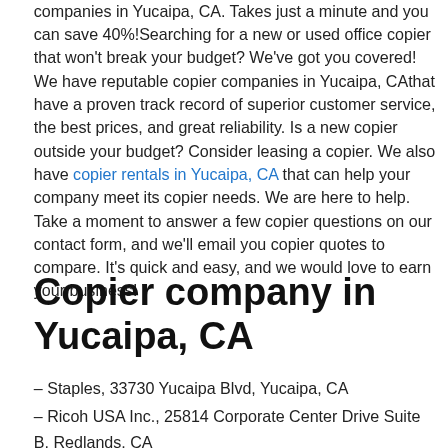companies in Yucaipa, CA. Takes just a minute and you can save 40%!Searching for a new or used office copier that won't break your budget? We've got you covered! We have reputable copier companies in Yucaipa, CAthat have a proven track record of superior customer service, the best prices, and great reliability. Is a new copier outside your budget? Consider leasing a copier. We also have copier rentals in Yucaipa, CA that can help your company meet its copier needs. We are here to help. Take a moment to answer a few copier questions on our contact form, and we'll email you copier quotes to compare. It's quick and easy, and we would love to earn your business!
Copier company in Yucaipa, CA
– Staples, 33730 Yucaipa Blvd, Yucaipa, CA
– Ricoh USA Inc., 25814 Corporate Center Drive Suite B, Redlands, CA